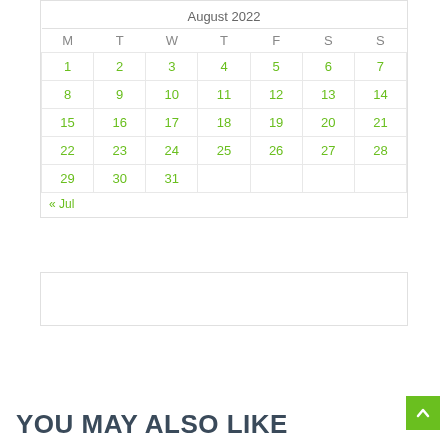| M | T | W | T | F | S | S |
| --- | --- | --- | --- | --- | --- | --- |
| 1 | 2 | 3 | 4 | 5 | 6 | 7 |
| 8 | 9 | 10 | 11 | 12 | 13 | 14 |
| 15 | 16 | 17 | 18 | 19 | 20 | 21 |
| 22 | 23 | 24 | 25 | 26 | 27 | 28 |
| 29 | 30 | 31 |  |  |  |  |
« Jul
YOU MAY ALSO LIKE